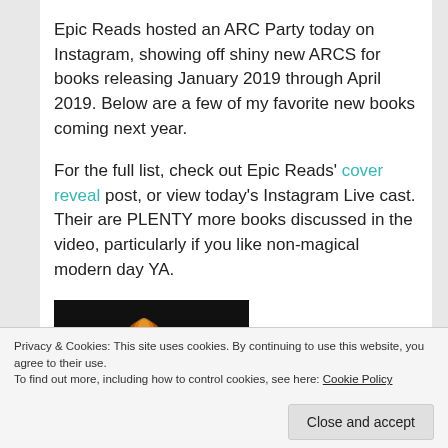Epic Reads hosted an ARC Party today on Instagram, showing off shiny new ARCS for books releasing January 2019 through April 2019.  Below are a few of my favorite new books coming next year.
For the full list, check out Epic Reads' cover reveal post, or view today's Instagram Live cast.  Their are PLENTY more books discussed in the video, particularly if you like non-magical modern day YA.
[Figure (photo): Dark book cover image with orange/amber lighting, partially visible at bottom of content area]
Privacy & Cookies: This site uses cookies. By continuing to use this website, you agree to their use.
To find out more, including how to control cookies, see here: Cookie Policy
Close and accept